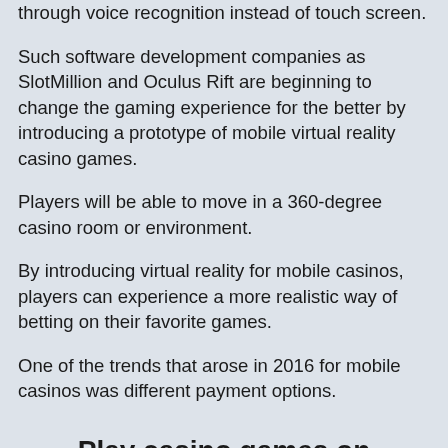through voice recognition instead of touch screen.
Such software development companies as SlotMillion and Oculus Rift are beginning to change the gaming experience for the better by introducing a prototype of mobile virtual reality casino games.
Players will be able to move in a 360-degree casino room or environment.
By introducing virtual reality for mobile casinos, players can experience a more realistic way of betting on their favorite games.
One of the trends that arose in 2016 for mobile casinos was different payment options.
Play casino games on mobile devices